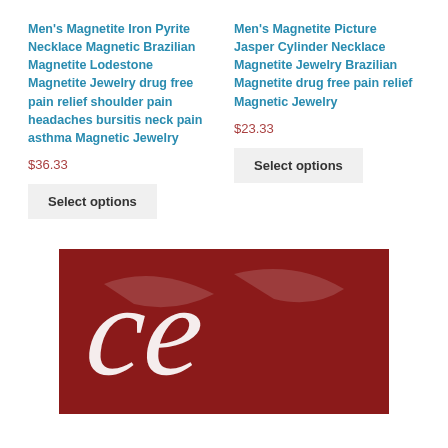Men's Magnetite Iron Pyrite Necklace Magnetic Brazilian Magnetite Lodestone Magnetite Jewelry drug free pain relief shoulder pain headaches bursitis neck pain asthma Magnetic Jewelry
$36.33
Select options
Men's Magnetite Picture Jasper Cylinder Necklace Magnetite Jewelry Brazilian Magnetite drug free pain relief Magnetic Jewelry
$23.33
Select options
[Figure (logo): Dark red/maroon background with white decorative cursive script logo letters]